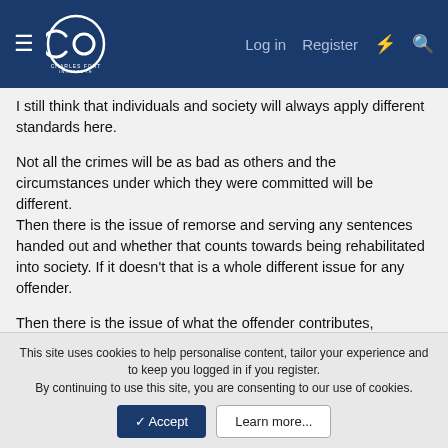Charles Fort Institute — Log in | Register
I still think that individuals and society will always apply different standards here.
Not all the crimes will be as bad as others and the circumstances under which they were committed will be different.
Then there is the issue of remorse and serving any sentences handed out and whether that counts towards being rehabilitated into society. If it doesn't that is a whole different issue for any offender.
Then there is the issue of what the offender contributes, arguably we can do without a talented sportsperson, musician or artist. The issue blurs a bit more with, for instance engineers and surgeons. However, can any of us be sure we are not
This site uses cookies to help personalise content, tailor your experience and to keep you logged in if you register.
By continuing to use this site, you are consenting to our use of cookies.